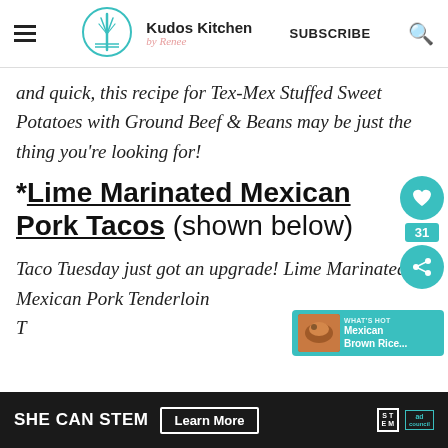Kudos Kitchen by Renee | SUBSCRIBE
and quick, this recipe for Tex-Mex Stuffed Sweet Potatoes with Ground Beef & Beans may be just the thing you're looking for!
*Lime Marinated Mexican Pork Tacos (shown below)
Taco Tuesday just got an upgrade! Lime Marinated Mexican Pork Tenderloin T...
[Figure (screenshot): What's hot widget showing Mexican Brown Rice thumbnail in teal background]
[Figure (infographic): SHE CAN STEM ad banner with Learn More button and STEM / Ad Council logos]